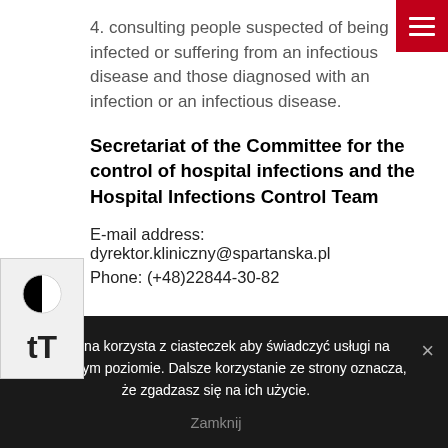4. consulting people suspected of being infected or suffering from an infectious disease and those diagnosed with an infection or an infectious disease.
Secretariat of the Committee for the control of hospital infections and the Hospital Infections Control Team
E-mail address: dyrektor.kliniczny@spartanska.pl
Phone: (+48)22844-30-82
Ta strona korzysta z ciasteczek aby świadczyć usługi na najwyższym poziomie. Dalsze korzystanie ze strony oznacza, że zgadzasz się na ich użycie.